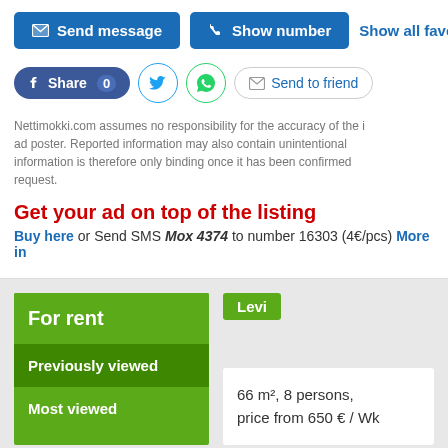[Figure (screenshot): Action buttons row: 'Send message' (blue), 'Show number' (blue), 'Show all favorite' (link)]
[Figure (screenshot): Social sharing row: Facebook Share 0, Twitter, WhatsApp, Send to friend]
Nettimokki.com assumes no responsibility for the accuracy of the information provided by the ad poster. Reported information may also contain unintentional errors. The information is therefore only binding once it has been confirmed separately upon request.
Get your ad on top of the listing
Buy here or Send SMS Mox 4374 to number 16303 (4€/pcs) More in
[Figure (screenshot): For rent section with Previously viewed and Most viewed menu items, Levi badge, and listing card showing 66 m², 8 persons, price from 650 € / Wk]